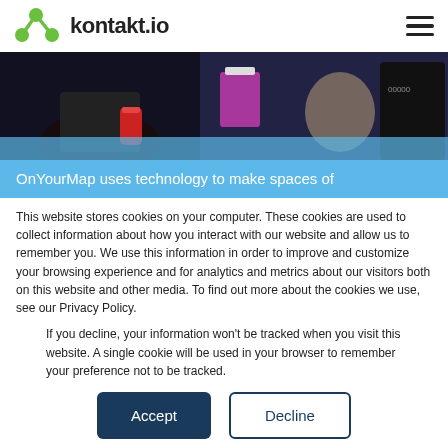kontakt.io
[Figure (photo): People at a conference or trade show, one holding a red can, another giving thumbs up]
OnYourMap uses technology to make spaces of
This website stores cookies on your computer. These cookies are used to collect information about how you interact with our website and allow us to remember you. We use this information in order to improve and customize your browsing experience and for analytics and metrics about our visitors both on this website and other media. To find out more about the cookies we use, see our Privacy Policy.
If you decline, your information won't be tracked when you visit this website. A single cookie will be used in your browser to remember your preference not to be tracked.
Accept
Decline